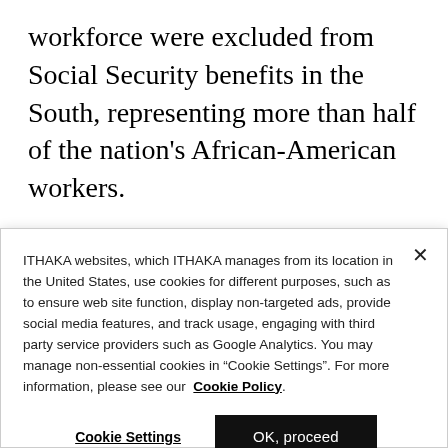workforce were excluded from Social Security benefits in the South, representing more than half of the nation's African-American workers.
As part of the efforts to sway Southern congressmen to support the New Deal, states were charged with distributing welfare and were
ITHAKA websites, which ITHAKA manages from its location in the United States, use cookies for different purposes, such as to ensure web site function, display non-targeted ads, provide social media features, and track usage, engaging with third party service providers such as Google Analytics. You may manage non-essential cookies in “Cookie Settings”. For more information, please see our Cookie Policy.